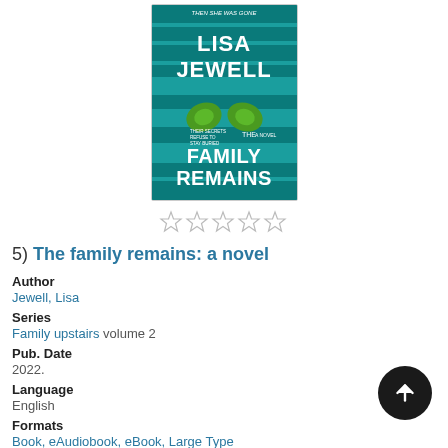[Figure (illustration): Book cover for 'The Family Remains' by Lisa Jewell. Teal/cyan horizontal stripe background with large white author name 'LISA JEWELL' and title 'THE FAMILY REMAINS'. Green ivy leaves in the center. Text 'THEN SHE WAS GONE' at top and 'THEIR SECRETS REFUSE TO STAY BURIED' overlay.]
[Figure (other): Five empty/outline star rating icons in a row]
5)  The family remains: a novel
Author
Jewell, Lisa
Series
Family upstairs volume 2
Pub. Date
2022.
Language
English
Formats
Book, eAudiobook, eBook, Large Type
Description
Read Description